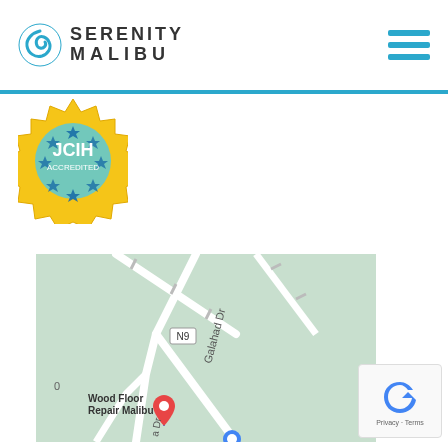Serenity Malibu
[Figure (logo): Serenity Malibu logo with circular swirl icon and text 'SERENITY MALIBU']
[Figure (photo): Gold and blue accreditation seal badge partially visible at top]
[Figure (map): Google Maps screenshot showing Galahad Dr and N9 road marker, with Wood Floor Repair Malibu location pin]
[Figure (other): Google reCAPTCHA widget showing Privacy and Terms text]